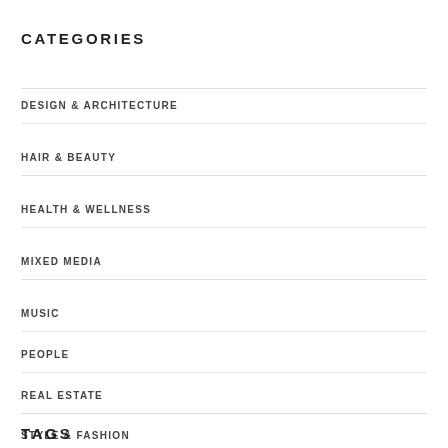CATEGORIES
DESIGN & ARCHITECTURE
HAIR & BEAUTY
HEALTH & WELLNESS
MIXED MEDIA
MUSIC
PEOPLE
REAL ESTATE
STYLE & FASHION
TAGS